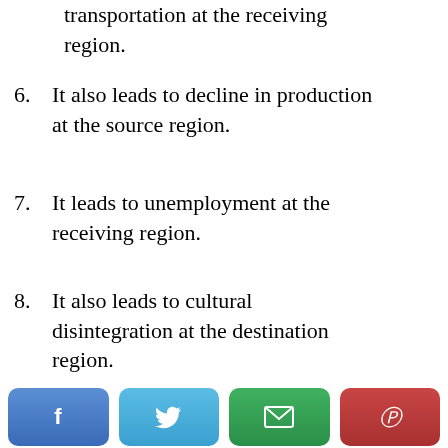transportation at the receiving region.
6. It also leads to decline in production at the source region.
7. It leads to unemployment at the receiving region.
8. It also leads to cultural disintegration at the destination region.
[Figure (infographic): Social sharing buttons: Facebook (blue), Twitter (light blue), Email (green), Pinterest (red)]
[Figure (infographic): Advertisement banner: dark background with gold coins, text 'Invite friends to earn crypto together. Enjoy up to 11% top-up rebate']